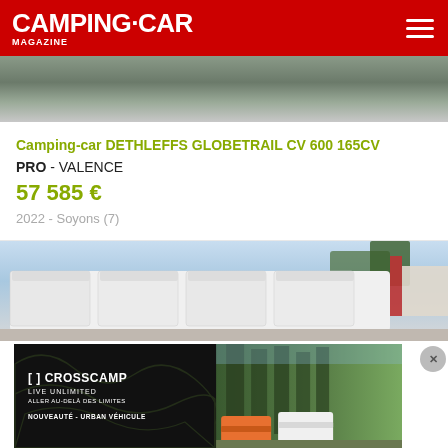CAMPING.CAR MAGAZINE
[Figure (photo): Bottom portion of a motorhome/camping-car on a paved surface, seen from low angle]
Camping-car DETHLEFFS GLOBETRAIL CV 600 165CV
PRO - VALENCE
57 585 €
2022 - Soyons (7)
[Figure (photo): A row of white vans/camping-cars parked in a lot, blue sky and trees and red/white building in background]
[Figure (photo): CROSSCAMP advertisement: black left side with brand logo and text 'LIVE UNLIMITED / ALLER AU-DELÀ DES LIMITES / NOUVEAUTÉ - URBAN VÉHICULE', right side showing camping vans in a forest setting]